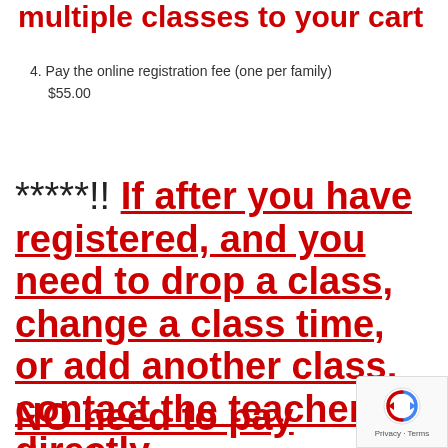multiple classes to your cart
4. Pay the online registration fee (one per family)
$55.00
*****!! If after you have registered, and you need to drop a class, change a class time, or add another class, contact the teacher(s) directly. NO need to pay the fee...